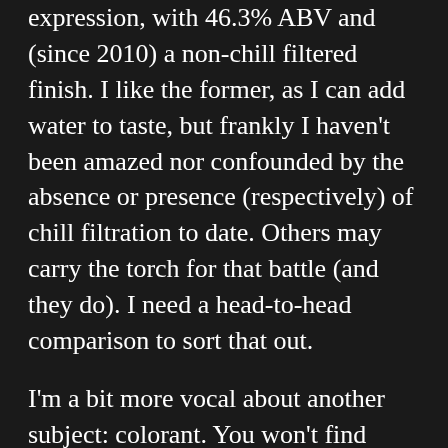expression, with 46.3% ABV and (since 2010) a non-chill filtered finish. I like the former, as I can add water to taste, but frankly I haven't been amazed nor confounded by the absence or presence (respectively) of chill filtration to date. Others may carry the torch for that battle (and they do). I need a head-to-head comparison to sort that out.

I'm a bit more vocal about another subject: colorant. You won't find e150 here, according to their profile of Ian Macmillan, the master distiller. As you can see from the photos, Tobermory is a very respectable light amber color. Depending on the light, it can look lighter still. It's a nice change from the